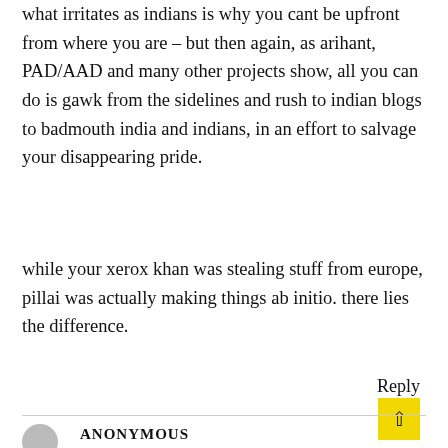what irritates as indians is why you cant be upfront from where you are – but then again, as arihant, PAD/AAD and many other projects show, all you can do is gawk from the sidelines and rush to indian blogs to badmouth india and indians, in an effort to salvage your disappearing pride.
while your xerox khan was stealing stuff from europe, pillai was actually making things ab initio. there lies the difference.
Reply
ANONYMOUS